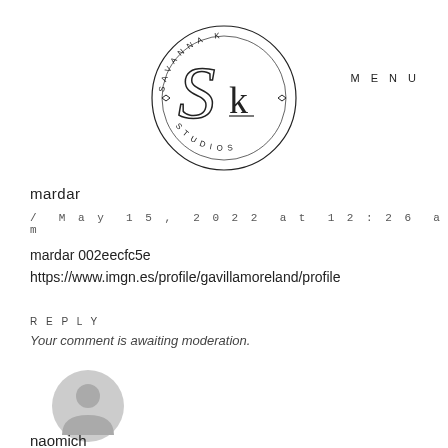[Figure (logo): Savanna K Studios circular logo with SK monogram in center, text around the circle border]
MENU
mardar
/ May 15, 2022 at 12:26 am
mardar 002eecfc5e
https://www.imgn.es/profile/gavillamoreland/profile
REPLY
Your comment is awaiting moderation.
[Figure (illustration): Generic gray user avatar icon (circle with person silhouette)]
naomich